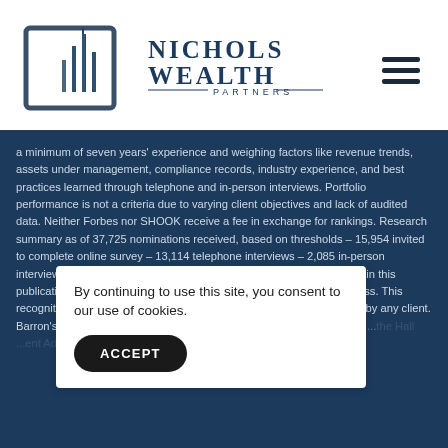[Figure (logo): Nichols Wealth Partners logo with stylized building/spire icon in dark blue/steel and company name text]
a minimum of seven years' experience and weighing factors like revenue trends, assets under management, compliance records, industry experience, and best practices learned through telephone and in-person interviews. Portfolio performance is not a criteria due to varying client objectives and lack of audited data. Neither Forbes nor SHOOK receive a fee in exchange for rankings. Research summary as of 37,725 nominations received, based on thresholds – 15,954 invited to complete online survey – 13,114 telephone interviews – 2,085 in-person interviews at Advisor's location, and 619 web-based interviews. Listing in this publication and/or award is not a guarantee of future investment success. This recognition should not be construed as an endorsement of the advisor by any client. Barron's Magazine Hall of Fame inclusion. Best-in-State October 2021 ...the Hall ...ent Ad...a pro...d in t...ory
By continuing to use this site, you consent to our use of cookies.